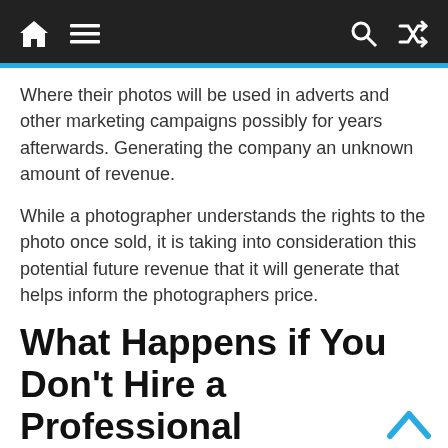Navigation bar with home, menu, search, and shuffle icons
Where their photos will be used in adverts and other marketing campaigns possibly for years afterwards. Generating the company an unknown amount of revenue.
While a photographer understands the rights to the photo once sold, it is taking into consideration this potential future revenue that it will generate that helps inform the photographers price.
What Happens if You Don’t Hire a Professional